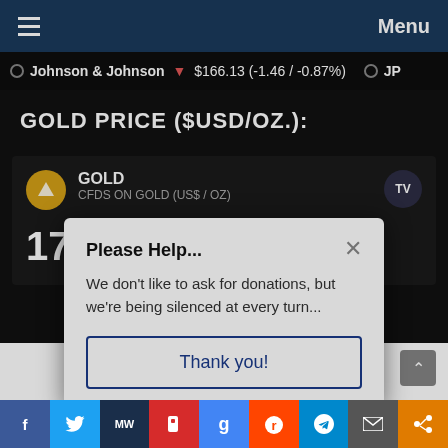Menu
Johnson & Johnson $166.13 (-1.46 / -0.87%)
GOLD PRICE ($USD/OZ.):
GOLD CFDS ON GOLD (US$ / OZ) 1747.86 -0.01% (0.17)
Please Help... We don't like to ask for donations, but we're being silenced at every turn...
Thank you!